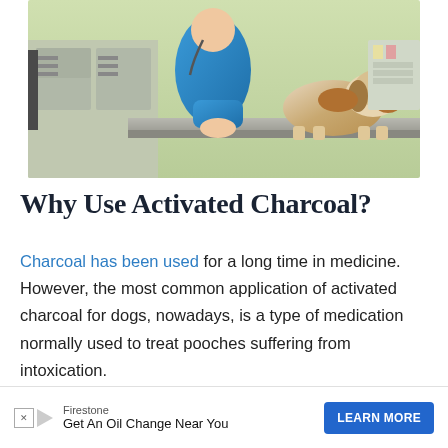[Figure (photo): A veterinarian in blue scrubs and stethoscope examining a beagle dog on a stainless steel examination table in a veterinary clinic.]
Why Use Activated Charcoal?
Charcoal has been used for a long time in medicine. However, the most common application of activated charcoal for dogs, nowadays, is a type of medication normally used to treat pooches suffering from intoxication.
The a
[Figure (other): Advertisement banner: Firestone - Get An Oil Change Near You - LEARN MORE button]